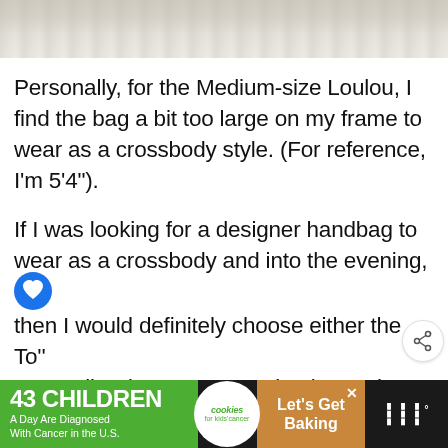[Figure (photo): Partial photo of a handbag on a furry/fluffy white surface, cropped at top]
Personally, for the Medium-size Loulou, I find the bag a bit too large on my frame to wear as a crossbody style. (For reference, I'm 5‘4”).
If I was looking for a designer handbag to wear as a crossbody and into the evening, then I would definitely choose either the To'' or Small Saint Laurent Loulou instead.
[Figure (screenshot): WHAT'S NEXT arrow label with thumbnail image and text '15 Best Designer...']
[Figure (photo): Advertisement banner: '43 CHILDREN A Day Are Diagnosed With Cancer in the U.S.' with cookies for kids' cancer and Let's Get Baking logos]